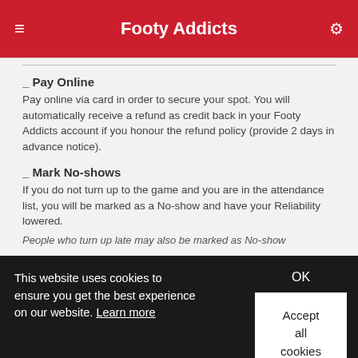Footy Addicts
_ Pay Online
Pay online via card in order to secure your spot. You will automatically receive a refund as credit back in your Footy Addicts account if you honour the refund policy (provide 2 days in advance notice).
_ Mark No-shows
If you do not turn up to the game and you are in the attendance list, you will be marked as a No-show and have your Reliability lowered.
People who turn up late may also be marked as No-show
This website uses cookies to ensure you get the best experience on our website. Learn more
OK
Accept all cookies